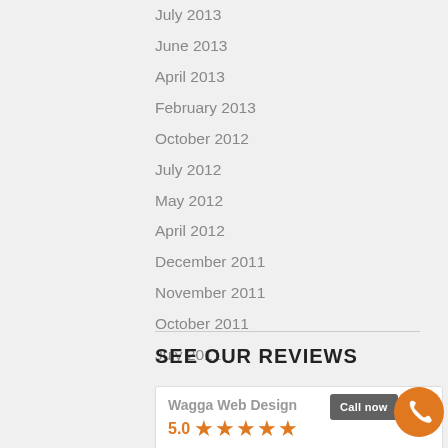July 2013
June 2013
April 2013
February 2013
October 2012
July 2012
May 2012
April 2012
December 2011
November 2011
October 2011
July 2011
SEE OUR REVIEWS
Wagga Web Design
5.0 ★★★★★